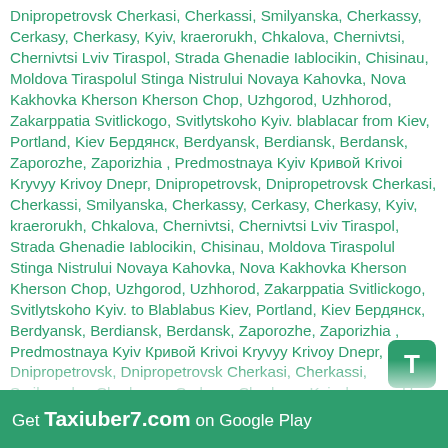Dnipropetrovsk Cherkasi, Cherkassi, Smilyanska, Cherkassy, Cerkasy, Cherkasy, Kyiv, kraerorukh, Chkalova, Chernivtsi, Chernivtsi Lviv Tiraspol, Strada Ghenadie Iablocikin, Chisinau, Moldova Tiraspolul Stinga Nistrului Novaya Kahovka, Nova Kakhovka Kherson Kherson Chop, Uzhgorod, Uzhhorod, Zakarppatia Svitlickogo, Svitlytskoho Kyiv. blablacar from Kiev, Portland, Kiev Бердянск, Berdyansk, Berdiansk, Berdansk, Zaporozhe, Zaporizhia , Predmostnaya Kyiv Кривой Krivoi Kryvyy Krivoy Dnepr, Dnipropetrovsk, Dnipropetrovsk Cherkasi, Cherkassi, Smilyanska, Cherkassy, Cerkasy, Cherkasy, Kyiv, kraerorukh, Chkalova, Chernivtsi, Chernivtsi Lviv Tiraspol, Strada Ghenadie Iablocikin, Chisinau, Moldova Tiraspolul Stinga Nistrului Novaya Kahovka, Nova Kakhovka Kherson Kherson Chop, Uzhgorod, Uzhhorod, Zakarppatia Svitlickogo, Svitlytskoho Kyiv. to Blablabus Kiev, Portland, Kiev Бердянск, Berdyansk, Berdiansk, Berdansk, Zaporozhe, Zaporizhia , Predmostnaya Kyiv Кривой Krivoi Kryvyy Krivoy Dnepr, Dnipropetrovsk, Dnipropetrovsk Cherkasi, Cherkassi, Smilyanska, Cherkassy, Cerkasy, Cherkasy, Kyiv, kraerorukh, Chkalova, Chernivtsi, Chernivtsi Lviv Tiraspol, Strada Ghenadie Iablocikin, Chisinau, Moldova Tiraspolul Stinga Nistrului Novaya Kahovka, Nova Kakhovka Kherson Kherson Chop, Uzhgorod, Uzhhorod, Zakarppatia Svitlickogo, Svitlytskoho Kyiv. , Blablataxi Kiev, Portland, Kiev Бердянск, Berdyansk, Berdiansk, Zaporozhe, Zaporizhia , Predmostnaya Kyiv Кривой Krivoi Kryvyy Krivoy Dnepr, Dnipropetrovsk,
[Figure (other): Green 'T' icon button overlay in bottom-right area]
Get Taxiuber7.com on Google Play